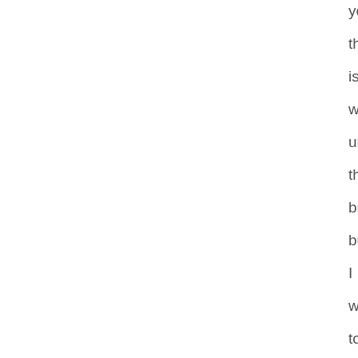ye
tha
is
wa
un
the
bri
but
I
wa
to
poi
this
out
ag
tho
wh
ac